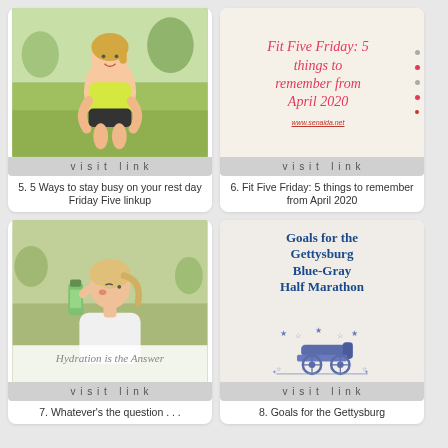[Figure (photo): Woman in athletic wear stretching outdoors]
visit link
5. 5 Ways to stay busy on your rest day Friday Five linkup
[Figure (infographic): Fit Five Friday: 5 things to remember from April 2020 on cream background with red decorative dots and URL www.senaida.net]
visit link
6. Fit Five Friday: 5 things to remember from April 2020
[Figure (photo): Woman drinking from water bottle, with 'Hydration is the Answer' script overlay]
visit link
7. Whatever's the question . . .
[Figure (infographic): Goals for the Gettysburg Blue-Gray Half Marathon with cannon and stars illustration]
visit link
8. Goals for the Gettysburg